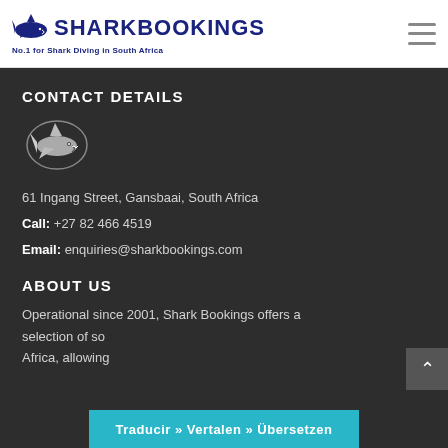February 2010
[Figure (logo): SharkBookings logo with shark illustration and text 'SHARKBOOKINGS No.1 for Shark Diving in South Africa']
CONTACT DETAILS
[Figure (logo): Small shark illustration logo in silver/white on dark background]
61 Ingang Street, Gansbaai, South Africa
Call: +27 82 466 4519
Email: enquiries@sharkbookings.com
ABOUT US
Operational since 2001, Shark Bookings offers a selection of so... of shark diving in South Africa, allowing...